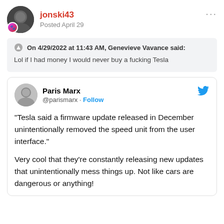jonski43 · Posted April 29
On 4/29/2022 at 11:43 AM, Genevieve Vavance said:
Lol if I had money I would never buy a fucking Tesla
Paris Marx @parismarx · Follow
“Tesla said a firmware update released in December unintentionally removed the speed unit from the user interface.”

Very cool that they’re constantly releasing new updates that unintentionally mess things up. Not like cars are dangerous or anything!